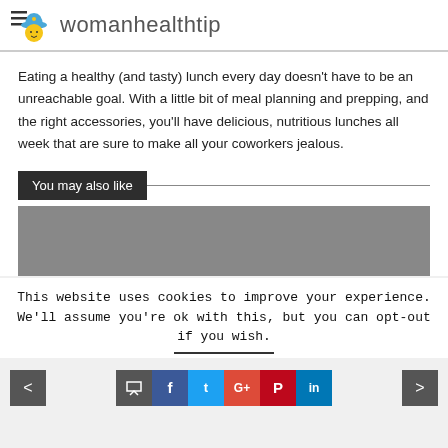womanhealthtip
Eating a healthy (and tasty) lunch every day doesn't have to be an unreachable goal. With a little bit of meal planning and prepping, and the right accessories, you'll have delicious, nutritious lunches all week that are sure to make all your coworkers jealous.
You may also like
[Figure (photo): Gray placeholder image area below 'You may also like' section]
This website uses cookies to improve your experience. We'll assume you're ok with this, but you can opt-out if you wish.